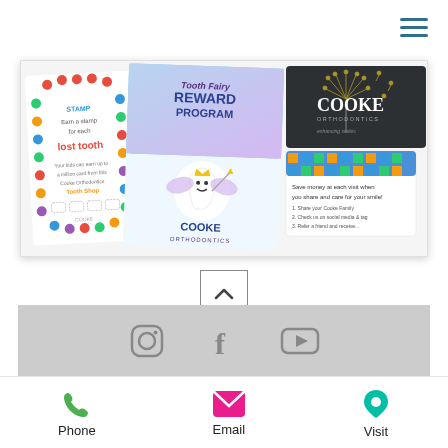[Figure (screenshot): Hamburger menu icon with three horizontal teal/blue lines in the top-right corner]
[Figure (photo): Collage of Cooke Orthodontics promotional cards: a Tooth Fairy Reward Program card with a tooth fairy character, a lost tooth stamp card with colorful circles, a social sharing reward card with blue/yellow/green squares, and a dark business card with a dandelion design and COOKE branding]
[Figure (other): Scroll-up arrow button (chevron pointing up) in a square border]
[Figure (other): Gray footer section with Instagram, Facebook, and YouTube social media icons]
[Figure (other): Bottom contact bar with Phone (green phone icon), Email (pink email icon), and Visit (teal location pin icon) options]